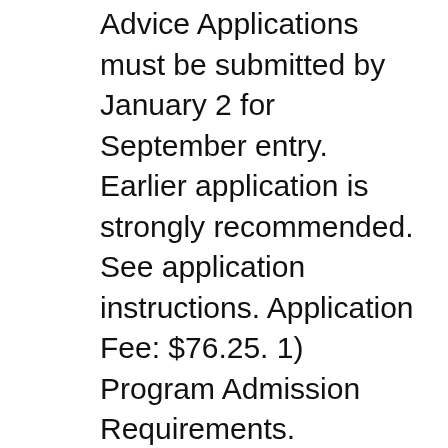Advice Applications must be submitted by January 2 for September entry. Earlier application is strongly recommended. See application instructions. Application Fee: $76.25. 1) Program Admission Requirements. Admission to this BEd program is restricted to students with a previous degree and who are enrolled in the Diploma вЂ¦
Explore Teaching. The Professional Development Program (PDP) is SFU's highly-regarded teacher education program. Established in 1965, the PDP has helped to develop more than 20,000 teachers in British Columbia making it one of the province's oldest